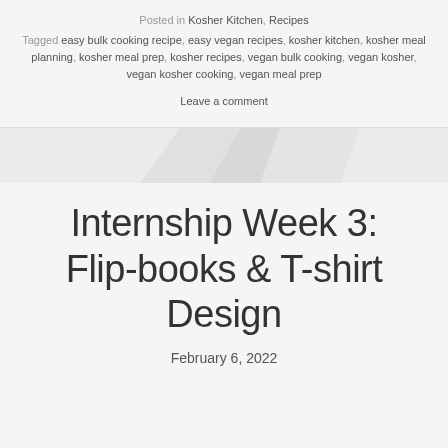Posted in Kosher Kitchen, Recipes
Tagged easy bulk cooking recipe, easy vegan recipes, kosher kitchen, kosher meal planning, kosher meal prep, kosher recipes, vegan bulk cooking, vegan kosher, vegan kosher cooking, vegan meal prep
Leave a comment
[Figure (photo): Decorative page divider banner image with light gray geometric shapes]
Internship Week 3: Flip-books & T-shirt Design
February 6, 2022